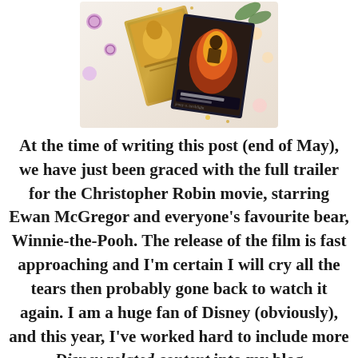[Figure (photo): Photo of two Disney DVD/Blu-ray movie cases (Beauty and the Beast and another Disney title) arranged on a decorative surface with colorful buttons and sparkly decorations]
At the time of writing this post (end of May), we have just been graced with the full trailer for the Christopher Robin movie, starring Ewan McGregor and everyone's favourite bear, Winnie-the-Pooh. The release of the film is fast approaching and I'm certain I will cry all the tears then probably gone back to watch it again. I am a huge fan of Disney (obviously), and this year, I've worked hard to include more Disney related content into my blog